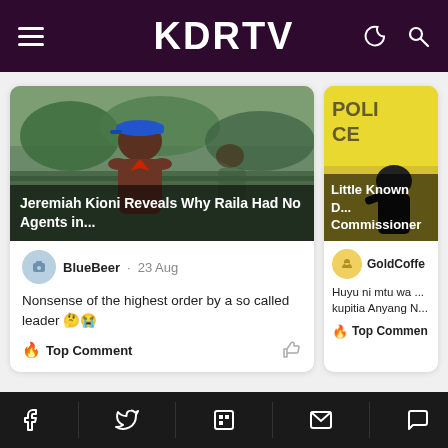KDRTV
[Figure (screenshot): Article card: man in blue cap, article title overlay 'Jeremiah Kioni Reveals Why Raila Had No Agents in...']
BlueBeer · 23 Aug
Nonsense of the highest order by a so called leader 🤔😭
🔥 Top Comment
[Figure (screenshot): Partial article card: yellow background with person, title overlay 'Little Known D... Commissioner']
GoldCoffe...
Huyu ni mtu wa ... kupitia Anyang N...
🔥 Top Commen...
f  [twitter]  [flipboard]  [mail]  [chat]